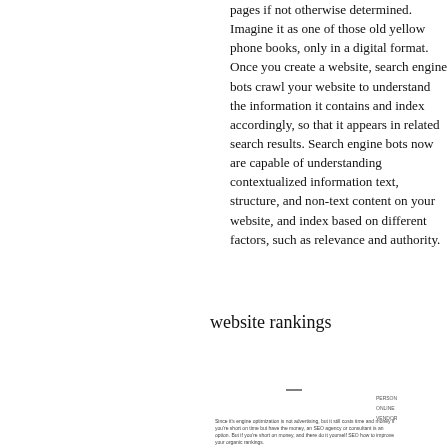pages if not otherwise determined. Imagine it as one of those old yellow phone books, only in a digital format. Once you create a website, search engine bots crawl your website to understand the information it contains and index accordingly, so that it appears in related search results. Search engine bots now are capable of understanding contextualized information text, structure, and non-text content on your website, and index based on different factors, such as relevance and authority.
website rankings
[Figure (infographic): Partial view of a webpage or infographic about SEO and website rankings, showing a dash/line graphic element and sidebar labels (PERSON, ONLINE, VENDOR or similar), with small caption text about search engine optimization.]
Since it's engine optimization is not advertising, but it still costs time and money if you're short on time but have the money, an SEO agency or consultant is an option. But if you're short on money, and there do it yourself SEO how to improve your organic rankings.